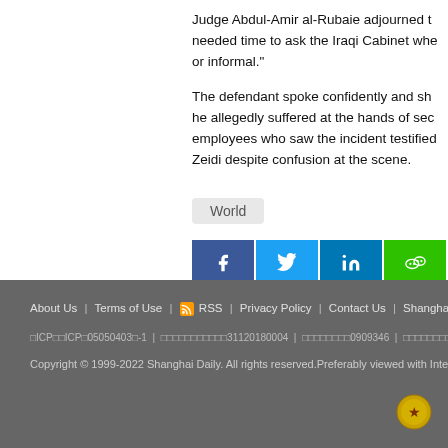Judge Abdul-Amir al-Rubaie adjourned the needed time to ask the Iraqi Cabinet whe or informal."
The defendant spoke confidently and sh he allegedly suffered at the hands of sec employees who saw the incident testified Zeidi despite confusion at the scene.
World
About Us | Terms of Use | RSS | Privacy Policy | Contact Us | Shanghai Call C
 ICP  ICP 05050403 -1 |  00000000000031120180004 |  0000000909346 |  000000000000000035

Copyright © 1999-2022 Shanghai Daily. All rights reserved.Preferably viewed with Intern